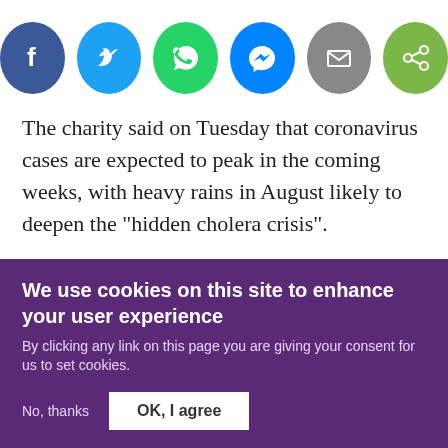[Figure (infographic): Row of six circular social share buttons: Facebook (dark blue), Twitter (light blue), WhatsApp (green), Messenger (blue), Email (grey), Share (green)]
The charity said on Tuesday that coronavirus cases are expected to peak in the coming weeks, with heavy rains in August likely to deepen the "hidden cholera crisis".
According to Oxfam, more than 100,000 suspected cholera cases were recorded in the first three months of the year, but the figure dropped by 50 percent in the
We use cookies on this site to enhance your user experience
By clicking any link on this page you are giving your consent for us to set cookies.
No, thanks
OK, I agree